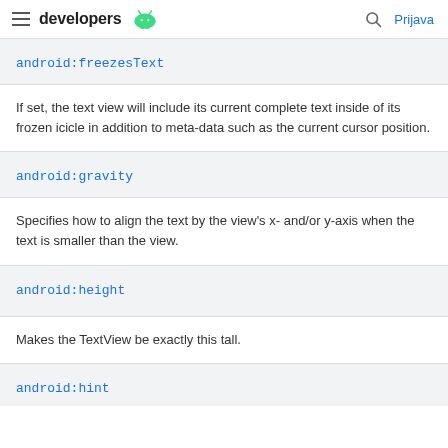developers  Prijava
android:freezesText
If set, the text view will include its current complete text inside of its frozen icicle in addition to meta-data such as the current cursor position.
android:gravity
Specifies how to align the text by the view's x- and/or y-axis when the text is smaller than the view.
android:height
Makes the TextView be exactly this tall.
android:hint